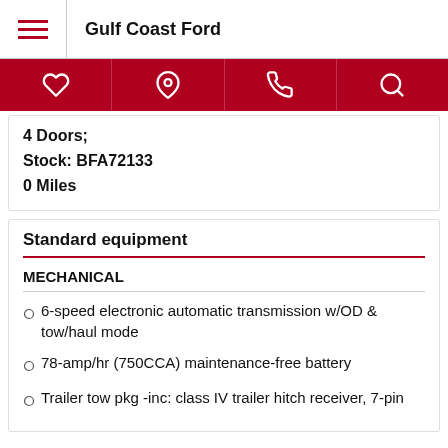Gulf Coast Ford
4 Doors;
Stock: BFA72133
0 Miles
Standard equipment
MECHANICAL
6-speed electronic automatic transmission w/OD & tow/haul mode
78-amp/hr (750CCA) maintenance-free battery
Trailer tow pkg -inc: class IV trailer hitch receiver, 7-pin wiring harness, upgraded radiator, aux trans oil